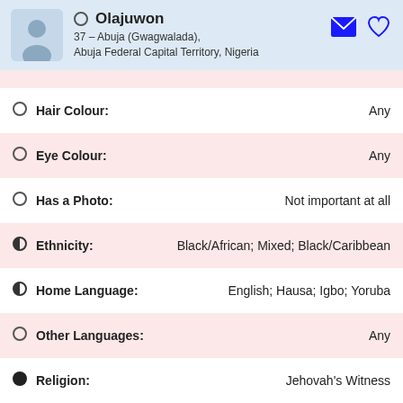Olajuwon
37 – Abuja (Gwagwalada), Abuja Federal Capital Territory, Nigeria
Hair Colour: Any
Eye Colour: Any
Has a Photo: Not important at all
Ethnicity: Black/African; Mixed; Black/Caribbean
Home Language: English; Hausa; Igbo; Yoruba
Other Languages: Any
Religion: Jehovah's Witness